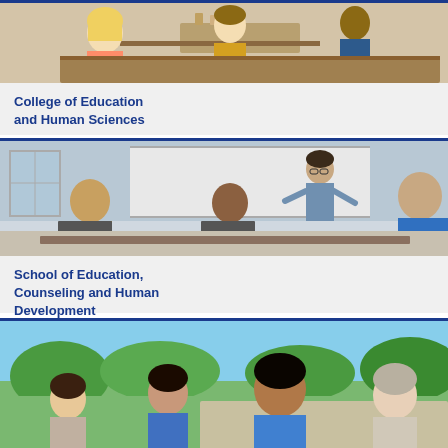[Figure (photo): Classroom scene with students and teacher working together at a table with materials]
College of Education
and Human Sciences
[Figure (photo): Instructor standing at whiteboard presenting to seated students with laptops in a classroom]
School of Education,
Counseling and Human
Development
[Figure (photo): Group of students talking outdoors on a sunny campus]